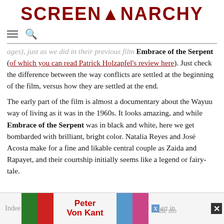SCREENANARCHY
...ages), just as we did in their previous film Embrace of the Serpent (of which you can read Patrick Holzapfel's review here). Just check the difference between the way conflicts are settled at the beginning of the film, versus how they are settled at the end.
The early part of the film is almost a documentary about the Wayuu way of living as it was in the 1960s. It looks amazing, and while Embrace of the Serpent was in black and white, here we get bombarded with brilliant, bright color. Natalia Reyes and José Acosta make for a fine and likable central couple as Zaida and Rapayet, and their courtship initially seems like a legend or fairy-tale.
Indeed... art in the sto...
[Figure (advertisement): Peter Von Kant advertisement banner with colored portrait photos]